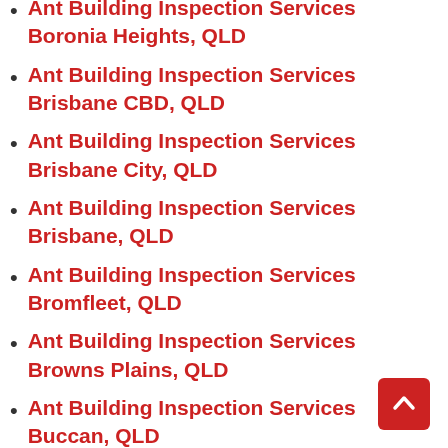Ant Building Inspection Services Boronia Heights, QLD
Ant Building Inspection Services Brisbane CBD, QLD
Ant Building Inspection Services Brisbane City, QLD
Ant Building Inspection Services Brisbane, QLD
Ant Building Inspection Services Bromfleet, QLD
Ant Building Inspection Services Browns Plains, QLD
Ant Building Inspection Services Buccan, QLD
Ant Building Inspection Services Burbank, QLD
Ant Building Inspection Services Cabbage Tree Point, QLD
Ant Building Inspection Services Calamvale, QLD
Ant Building Inspection Services Camira, QLD
Ant Building Inspection Services Capalaba, QLD
Ant Building Inspection Services Carbrook, QLD
Ant Building Inspection Services Carina Heights, QLD